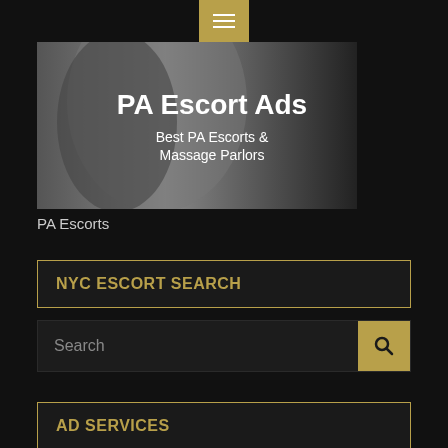☰ menu button
[Figure (photo): Black and white photo of a woman with text overlay reading 'PA Escort Ads — Best PA Escorts & Massage Parlors']
PA Escorts
NYC ESCORT SEARCH
Search
AD SERVICES